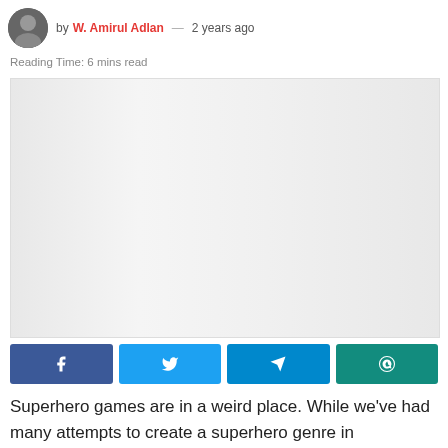by W. Amirul Adlan — 2 years ago
Reading Time: 6 mins read
[Figure (photo): Featured article image placeholder — light gray gradient background]
[Figure (infographic): Social sharing buttons: Facebook (blue), Twitter (light blue), Telegram (blue), WhatsApp (dark teal)]
Superhero games are in a weird place. While we've had many attempts to create a superhero genre in videogames, they haven't found as much success as they would in movies. Marvel's Avengers is the most ambitious